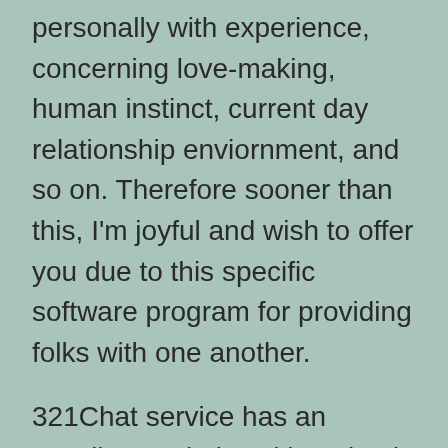personally with experience, concerning love-making, human instinct, current day relationship enviornment, and so on. Therefore sooner than this, I'm joyful and wish to offer you due to this specific software program for providing folks with one another.
321Chat service has an excellent website with a simple and user-friendly interface. Although it does not have any separate app, using the transportable version appears very simple and comfortable. There are thousands of individuals online concurrently, so you'll be able to easily choose one of the best match.